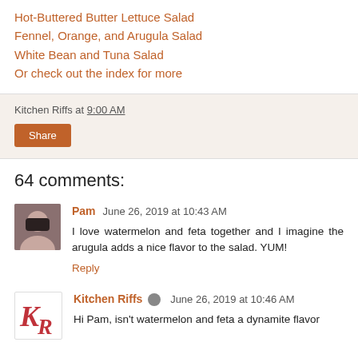Hot-Buttered Butter Lettuce Salad
Fennel, Orange, and Arugula Salad
White Bean and Tuna Salad
Or check out the index for more
Kitchen Riffs at 9:00 AM
64 comments:
Pam  June 26, 2019 at 10:43 AM
I love watermelon and feta together and I imagine the arugula adds a nice flavor to the salad. YUM!
Reply
Kitchen Riffs  June 26, 2019 at 10:46 AM
Hi Pam, isn't watermelon and feta a dynamite flavor